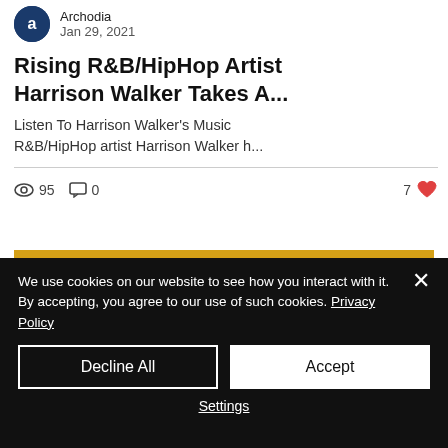Archodia
Jan 29, 2021
Rising R&B/HipHop Artist Harrison Walker Takes A...
Listen To Harrison Walker's Music R&B/HipHop artist Harrison Walker h...
95 views  0 comments  7 likes
[Figure (screenshot): Gold/yellow banner with large white bold text reading 'tie down']
We use cookies on our website to see how you interact with it. By accepting, you agree to our use of such cookies. Privacy Policy
Decline All
Accept
Settings